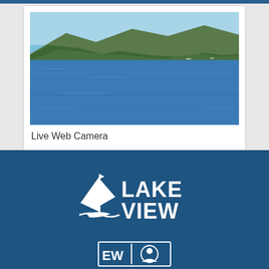[Figure (photo): Lake view photograph showing calm blue water with forested mountains and hills in the background under a clear blue sky]
Live Web Camera
[Figure (logo): Lake View logo with white sailboat icon and bold white text reading LAKE VIEW on dark blue background]
[Figure (logo): Secondary logo partially visible at bottom of dark blue footer area]